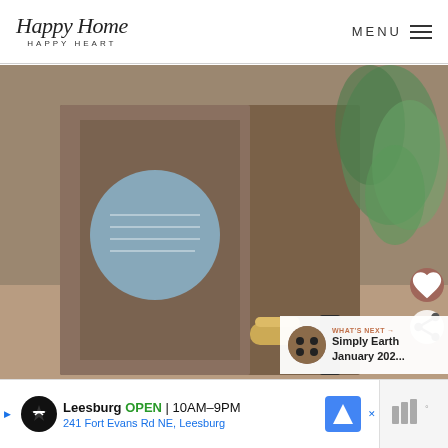Happy Home HAPPY HEART | MENU
[Figure (photo): Photo of an amber glass bottle with white cap/label, brown kraft box, small gold-lidded jar, and eucalyptus branches in the background on a warm taupe surface. Blue circular sticker on the box. Heart and share icons overlaid. 'What's Next' card with 'Simply Earth January 202...' thumbnail.]
WHAT'S NEXT → Simply Earth January 202...
Leesburg OPEN 10AM–9PM
241 Fort Evans Rd NE, Leesburg